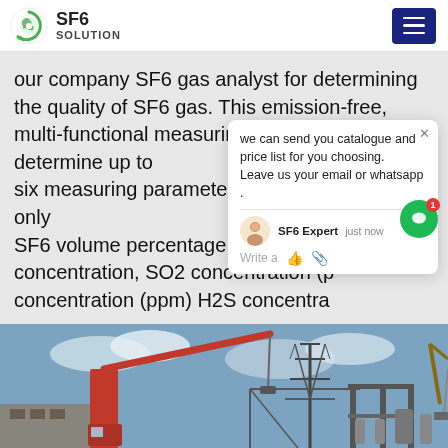SF6 SOLUTION
our company SF6 gas analyst for determining the quality of SF6 gas. This emission-free, multi-functional measuring device can determine up to six measuring parameters with only SF6 volume percentage (%), Moisture concentration, SO2 concentration (p... concentration (ppm) H2S concentra...
we can send you catalogue and price list for you choosing. Leave us your email or whatsapp .
SF6 Expert    just now
Write a
[Figure (photo): Industrial construction site with a large red crane, electrical transmission towers and substation equipment under a partly cloudy sky, with yellow construction vehicles visible]